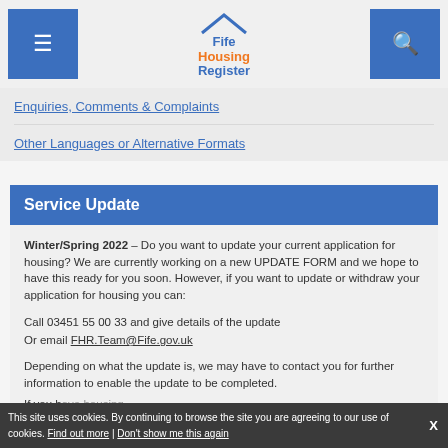Fife Housing Register – navigation header with menu and search buttons
Enquiries, Comments & Complaints
Other Languages or Alternative Formats
Service Update
Winter/Spring 2022 – Do you want to update your current application for housing? We are currently working on a new UPDATE FORM and we hope to have this ready for you soon. However, if you want to update or withdraw your application for housing you can:
Call 03451 55 00 33 and give details of the update
Or email FHR.Team@Fife.gov.uk
Depending on what the update is, we may have to contact you for further information to enable the update to be completed.
This site uses cookies. By continuing to browse the site you are agreeing to our use of cookies. Find out more | Don't show me this again  X